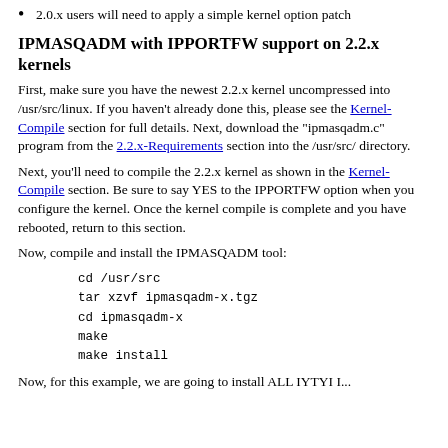2.0.x users will need to apply a simple kernel option patch
IPMASQADM with IPPORTFW support on 2.2.x kernels
First, make sure you have the newest 2.2.x kernel uncompressed into /usr/src/linux. If you haven't already done this, please see the Kernel-Compile section for full details. Next, download the "ipmasqadm.c" program from the 2.2.x-Requirements section into the /usr/src/ directory.
Next, you'll need to compile the 2.2.x kernel as shown in the Kernel-Compile section. Be sure to say YES to the IPPORTFW option when you configure the kernel. Once the kernel compile is complete and you have rebooted, return to this section.
Now, compile and install the IPMASQADM tool:
cd /usr/src
tar xzvf ipmasqadm-x.tgz
cd ipmasqadm-x
make
make install
Now, for this example, we are going to install ALL IYTYI I...